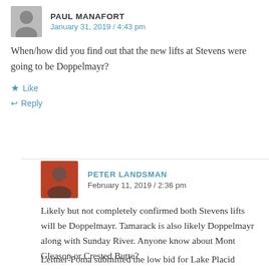PAUL MANAFORT
January 31, 2019 / 4:43 pm
When/how did you find out that the new lifts at Stevens were going to be Doppelmayr?
★ Like
↩ Reply
PETER LANDSMAN
February 11, 2019 / 2:36 pm
Likely but not completely confirmed both Stevens lifts will be Doppelmayr. Tamarack is also likely Doppelmayr along with Sunday River. Anyone know about Mont Gleason or Crested Butte?
Leitner-Poma submitted the low bid for Lake Placid